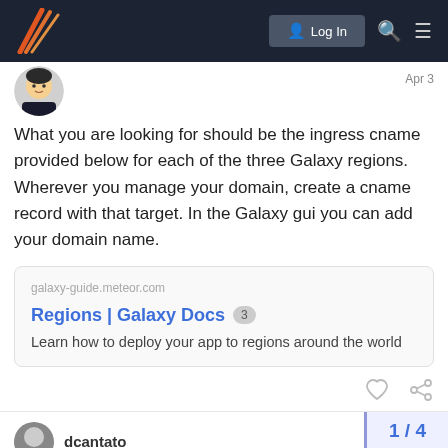Log In [navigation bar with logo, search, and menu icons]
[Figure (screenshot): User avatar - cartoon avatar with dark hair and black shirt]
Apr 3[date label top right]
What you are looking for should be the ingress cname provided below for each of the three Galaxy regions. Wherever you manage your domain, create a cname record with that target. In the Galaxy gui you can add your domain name.
[Figure (screenshot): Link card for galaxy-guide.meteor.com showing title 'Regions | Galaxy Docs' with badge '3' and description 'Learn how to deploy your app to regions around the world']
[Figure (other): Post action icons: heart (like) and chain link (share)]
1 / 4
dcantato